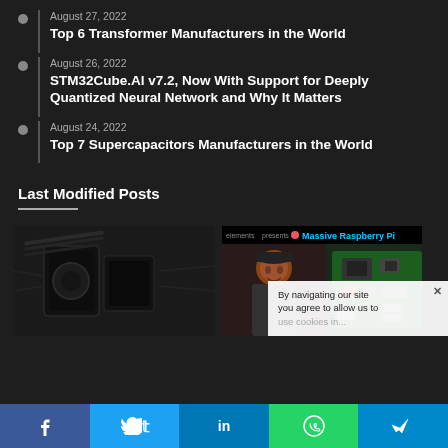August 27, 2022
Top 6 Transformer Manufacturers in the World
August 26, 2022
STM32Cube.AI v7.2, Now With Support for Deeply Quantized Neural Network and Why It Matters
August 24, 2022
Top 7 Supercapacitors Manufacturers in the World
Last Modified Posts
[Figure (photo): Close-up photo of electronic components or connectors, dark background]
[Figure (screenshot): Video thumbnail showing 'presents Massive Raspberry Pi' with a person and a Raspberry Pi board]
By navigating our site you agree to allow us to use cookies in...
f  t  in  (whatsapp)  (telegram)